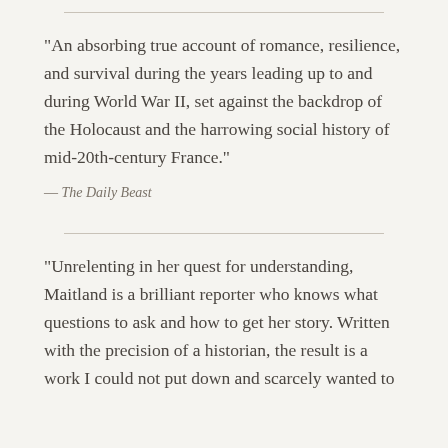“An absorbing true account of romance, resilience, and survival during the years leading up to and during World War II, set against the backdrop of the Holocaust and the harrowing social history of mid-20th-century France.”
— The Daily Beast
“Unrelenting in her quest for understanding, Maitland is a brilliant reporter who knows what questions to ask and how to get her story. Written with the precision of a historian, the result is a work I could not put down and scarcely wanted to